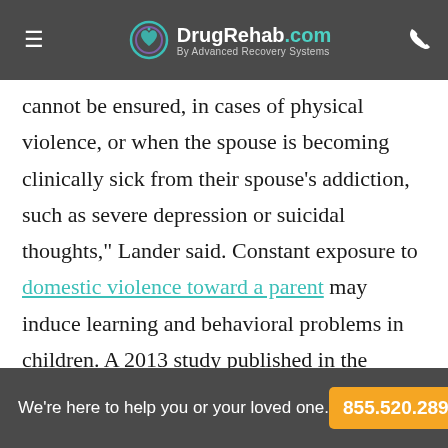DrugRehab.com By Advanced Recovery Systems
cannot be ensured, in cases of physical violence, or when the spouse is becoming clinically sick from their spouse’s addiction, such as severe depression or suicidal thoughts,” Lander said. Constant exposure to domestic violence toward a parent may induce learning and behavioral problems in children. A 2013 study published in the journal Social Work in Public Health highlighted that children living in the home of a person with a substance use disorder tended to shoulder parental responsibilities, which robbed
We’re here to help you or your loved one. 855.520.2898